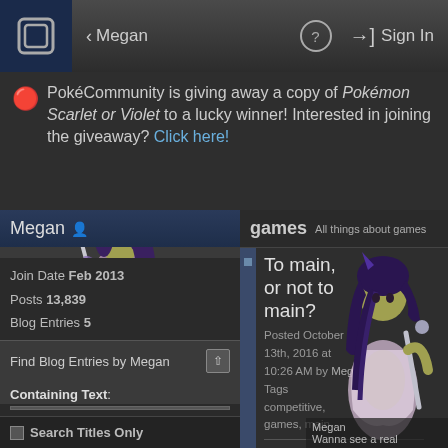< Megan   ?   Sign In
PokéCommunity is giving away a copy of Pokémon Scarlet or Violet to a lucky winner! Interested in joining the giveaway? Click here!
Megan
[Figure (illustration): Anime-style character with purple hair holding a staff, wearing purple outfit]
Join Date Feb 2013
Posts 13,839
Blog Entries 5
Find Blog Entries by Megan
Containing Text:
games All things about games
To main, or not to main?
Posted October 13th, 2016 at 10:26 AM by Megan
Tags competitive, games, main
Why do we choose
Search Titles Only
[Figure (illustration): Large anime-style character with purple hair holding a staff on the right side]
Megan
Wanna see a real